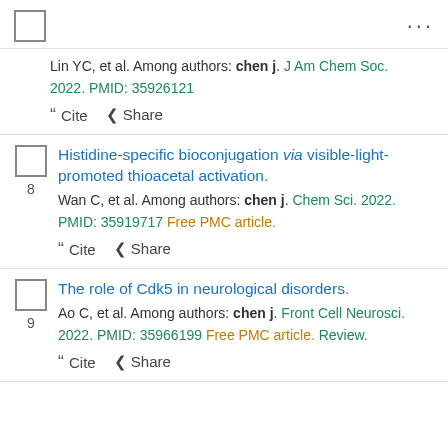checkbox | ...
Lin YC, et al. Among authors: chen j. J Am Chem Soc. 2022. PMID: 35926121
" Cite  Share
Histidine-specific bioconjugation via visible-light-promoted thioacetal activation.
Wan C, et al. Among authors: chen j. Chem Sci. 2022. PMID: 35919717 Free PMC article.
" Cite  Share
The role of Cdk5 in neurological disorders.
Ao C, et al. Among authors: chen j. Front Cell Neurosci. 2022. PMID: 35966199 Free PMC article. Review.
" Cite  Share